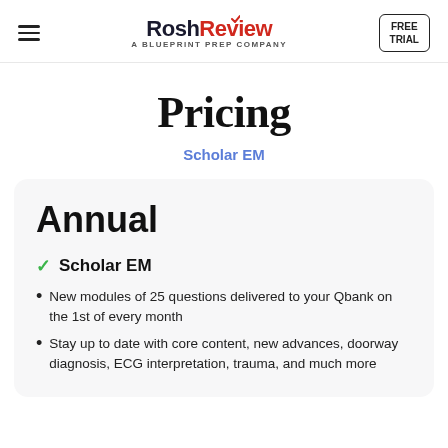RoshReview — A Blueprint Prep Company | FREE TRIAL
Pricing
Scholar EM
Annual
✓ Scholar EM
New modules of 25 questions delivered to your Qbank on the 1st of every month
Stay up to date with core content, new advances, doorway diagnosis, ECG interpretation, trauma, and much more